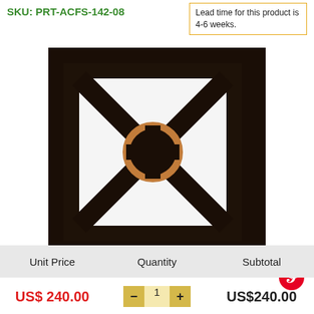SKU: PRT-ACFS-142-08
Lead time for this product is 4-6 weeks.
[Figure (photo): Dark bronze square frame with X-pattern diagonal bars and a copper circle accent at the center intersection]
[Figure (logo): Pinterest circular red logo icon]
| Unit Price | Quantity | Subtotal |
| --- | --- | --- |
| US$ 240.00 | 1 | US$240.00 |